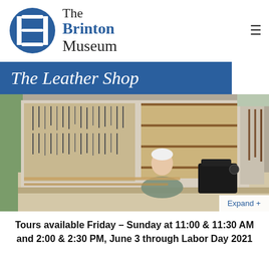[Figure (logo): The Brinton Museum logo: blue circle with stylized B shape in white, next to text 'The Brinton Museum' in serif font]
The Leather Shop
[Figure (photo): A craftsman with white hair working at a large worktable in a leather shop, with tools on walls and a sewing machine nearby]
Tours available Friday – Sunday at 11:00 & 11:30 AM and 2:00 & 2:30 PM, June 3 through Labor Day 2021